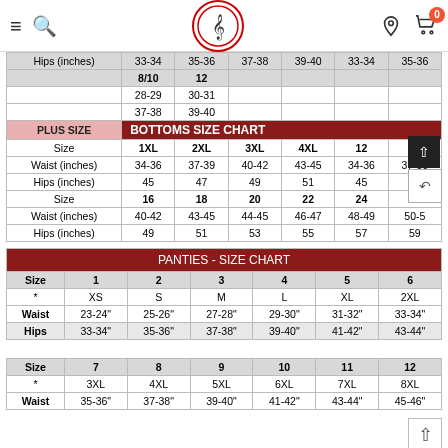Navigation bar with menu, search, logo, account, and cart icons
|  | 8/10 | 12 |  |  |  |  |
| --- | --- | --- | --- | --- | --- | --- |
| Hips (inches) | 33-34 | 35-36 | 37-38 | 39-40 | 33-34 | 35-36 |
|  | 8/10 | 12 |  |  |  |  |
|  | 28-29 | 30-31 |  |  |  |  |
|  | 37-38 | 39-40 |  |  |  |  |
| PLUS SIZE | BOTTOMS SIZE CHART |  |  |  |  |  |
| Size | 1XL | 2XL | 3XL | 4XL | 12 | 14 |
| Waist (inches) | 34-36 | 37-39 | 40-42 | 43-45 | 34-36 | 37-39 |
| Hips (inches) | 45 | 47 | 49 | 51 | 45 | 47 |
| Size | 16 | 18 | 20 | 22 | 24 | 26 |
| Waist (inches) | 40-42 | 43-45 | 44-45 | 46-47 | 48-49 | 50-5 |
| Hips (inches) | 49 | 51 | 53 | 55 | 57 | 59 |
| PANTIES - SIZE CHART |  |  |  |  |  |  |
| --- | --- | --- | --- | --- | --- | --- |
| Size | 1 | 2 | 3 | 4 | 5 | 6 |
| * | XS | S | M | L | XL | 2XL |
| Waist | 23-24" | 25-26" | 27-28" | 29-30" | 31-32" | 33-34" |
| Hips | 33-34" | 35-36" | 37-38" | 39-40" | 41-42" | 43-44" |
|  |  |  |  |  |  |  |
| Size | 7 | 8 | 9 | 10 | 11 | 12 |
| * | 3XL | 4XL | 5XL | 6XL | 7XL | 8XL |
| Waist | 35-36" | 37-38" | 39-40" | 41-42" | 43-44" | 45-46" |